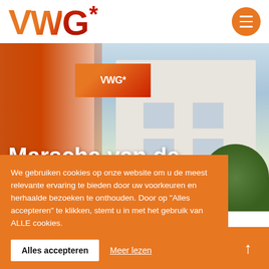[Figure (logo): VWG* logo in orange-red gradient with asterisk]
[Figure (photo): VWG office building with orange banners and blue sky, white building with windows and trees]
Marscha van de Water – Fluit
We gebruiken cookies op onze website om u de meest relevante ervaring te bieden door uw voorkeuren en herhaalde bezoeken te onthouden. Door op "Alles accepteren" te klikken, stemt u in met het gebruik van ALLE cookies.
Alles accepteren
Meer lezen